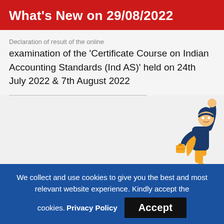What's New on 29/08/2022
Declaration of result of the online examination of the 'Certificate Course on Indian Accounting Standards (Ind AS)' held on 24th July 2022 & 7th August 2022
[Figure (illustration): Superhero character flying upward, wearing navy blue outfit with yellow cape and rocket boots]
We collect and use cookies to give you the best and most relevant website experience. Kindly accept the cookies. Privacy Policy  Accept